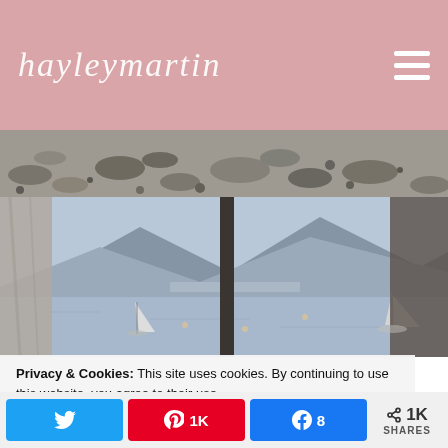hayleymartin
[Figure (photo): Rocky/gravelly landscape photo cropped at top]
[Figure (photo): View through a hotel window or balcony with curtains on the sides, showing a lake with sailboats and mountains in the background under a hazy sky]
Privacy & Cookies: This site uses cookies. By continuing to use this website, you agree to their use.
To find out more, including how to control cookies, see here:
Share buttons: Twitter, Pinterest 1K, Facebook 8, Total 1K SHARES